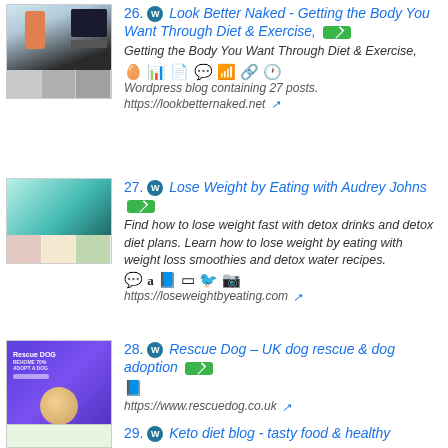26. Look Better Naked - Getting the Body You Want Through Diet & Exercise,
Getting the Body You Want Through Diet & Exercise,
Wordpress blog containing 27 posts.
https://lookbetternaked.net
27. Lose Weight by Eating with Audrey Johns
Find how to lose weight fast with detox drinks and detox diet plans. Learn how to lose weight by eating with weight loss smoothies and detox water recipes.
https://loseweightbyeating.com
28. Rescue Dog - UK dog rescue & dog adoption
https://www.rescuedog.co.uk
29. Keto diet blog - tasty food & healthy